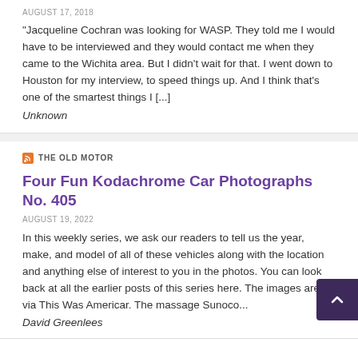AUGUST 17, 2018
"Jacqueline Cochran was looking for WASP.  They told me I would have to be interviewed and they would contact me when they came to the Wichita area.  But I didn't wait for that. I went down to Houston for my interview, to speed things up. And I think that's one of the smartest things I [...]
Unknown
THE OLD MOTOR
Four Fun Kodachrome Car Photographs No. 405
AUGUST 19, 2022
In this weekly series, we ask our readers to tell us the year, make, and model of all of these vehicles along with the location and anything else of interest to you in the photos. You can look back at all the earlier posts of this series here. The images are via This Was Americar. The massage Sunoco...
David Greenlees